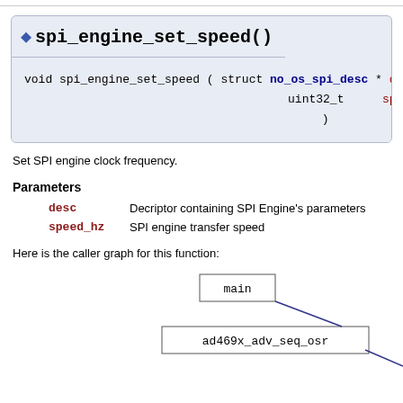◆ spi_engine_set_speed()
void spi_engine_set_speed ( struct no_os_spi_desc * desc, uint32_t speed_hz )
Set SPI engine clock frequency.
Parameters
desc - Decriptor containing SPI Engine's parameters
speed_hz - SPI engine transfer speed
Here is the caller graph for this function:
[Figure (flowchart): Caller graph showing: main box connected by arrow to ad469x_adv_seq_osr box]